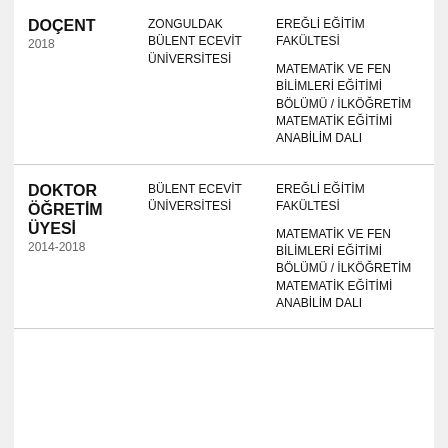| Unvan | Kurum | Bölüm/Birim |
| --- | --- | --- |
| DOÇENT
2018 | ZONGULDAK BÜLENT ECEVİT ÜNİVERSİTESİ | EREĞLİ EĞİTİM FAKÜLTESİ

MATEMATİK VE FEN BİLİMLERİ EĞİTİMİ BÖLÜMÜ / İLKÖĞRETİM MATEMATİK EĞİTİMİ ANABİLİM DALI |
| DOKTOR ÖĞRETİM ÜYESİ
2014-2018 | BÜLENT ECEVİT ÜNİVERSİTESİ | EREĞLİ EĞİTİM FAKÜLTESİ

MATEMATİK VE FEN BİLİMLERİ EĞİTİMİ BÖLÜMÜ / İLKÖĞRETİM MATEMATİK EĞİTİMİ ANABİLİM DALI |